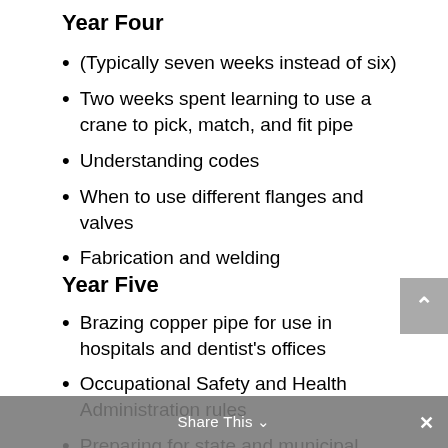Year Four
(Typically seven weeks instead of six)
Two weeks spent learning to use a crane to pick, match, and fit pipe
Understanding codes
When to use different flanges and valves
Fabrication and welding
Year Five
Brazing copper pipe for use in hospitals and dentist's offices
Occupational Safety and Health Administration rules
Preparing for state and municipal